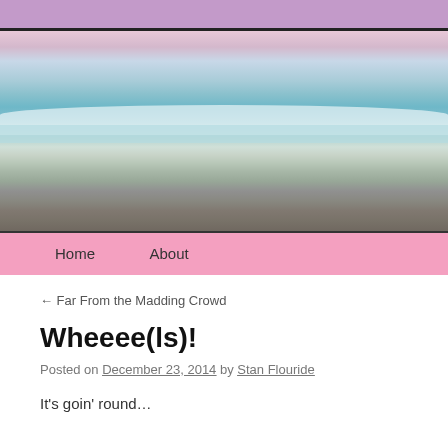[Figure (photo): Beach scene with ocean waves, pale pink sky, and sandy shoreline. Soft pastel colors with turquoise/teal water and white foam.]
Home   About
← Far From the Madding Crowd
Wheeee(ls)!
Posted on December 23, 2014 by Stan Flouride
It’s goin’ round…